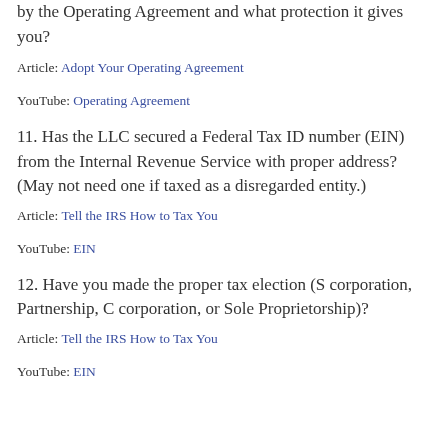by the Operating Agreement and what protection it gives you?
Article: Adopt Your Operating Agreement
YouTube: Operating Agreement
11. Has the LLC secured a Federal Tax ID number (EIN) from the Internal Revenue Service with proper address? (May not need one if taxed as a disregarded entity.)
Article: Tell the IRS How to Tax You
YouTube: EIN
12. Have you made the proper tax election (S corporation, Partnership, C corporation, or Sole Proprietorship)?
Article: Tell the IRS How to Tax You
YouTube: EIN